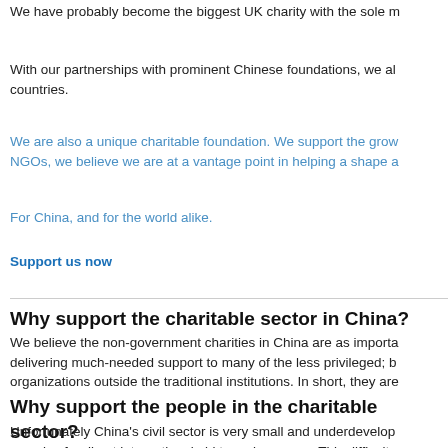We have probably become the biggest UK charity with the sole m
With our partnerships with prominent Chinese foundations, we al countries.
We are also a unique charitable foundation. We support the grow NGOs, we believe we are at a vantage point in helping a shape a
For China, and for the world alike.
Support us now
Why support the charitable sector in China?
We believe the non-government charities in China are as importa delivering much-needed support to many of the less privileged; b organizations outside the traditional institutions. In short, they are
Why support the people in the charitable sector?
Unfortunately China's civil sector is very small and underdevelop complex for direct international aid to make sense.  This difficulty increased scrutiny (read: trouble) from the authorities, along with